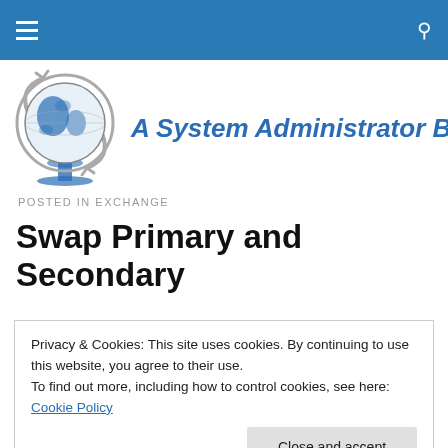A System Administrator Blog - navigation bar
[Figure (logo): Globe logo with circular arrows and stand, blue and grey color scheme]
A System Administrator Blog
POSTED IN EXCHANGE
Swap Primary and Secondary email addresses using
Privacy & Cookies: This site uses cookies. By continuing to use this website, you agree to their use.
To find out more, including how to control cookies, see here: Cookie Policy
various reasons like company merge, acquire, branding